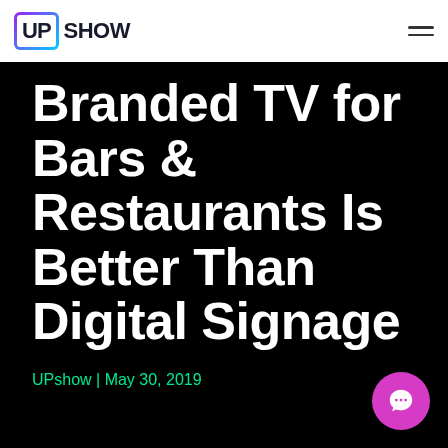UPshow
Branded TV for Bars & Restaurants Is Better Than Digital Signage
UPshow | May 30, 2019